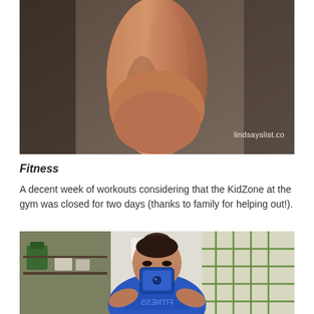[Figure (photo): Close-up photo of a person's bare leg/calf muscle against a dark brownish-gray background, with watermark 'lindsayslist.co' in lower right corner]
Fitness
A decent week of workouts considering that the KidZone at the gym was closed for two days (thanks to family for helping out!).
[Figure (photo): Mirror selfie of a woman in a blue fitness top taking a photo with a blue phone case, in a gym locker room or studio with green-framed windows visible in background. The shirt has mirrored text reading FITNESS.]